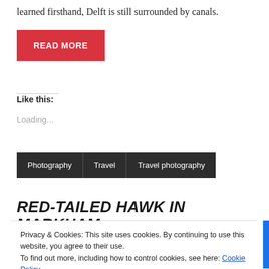learned firsthand, Delft is still surrounded by canals.
READ MORE
Like this:
Loading...
Photography
Travel
Travel photography
RED-TAILED HAWK IN MARKHAM.
Privacy & Cookies: This site uses cookies. By continuing to use this website, you agree to their use.
To find out more, including how to control cookies, see here: Cookie Policy
Close and accept